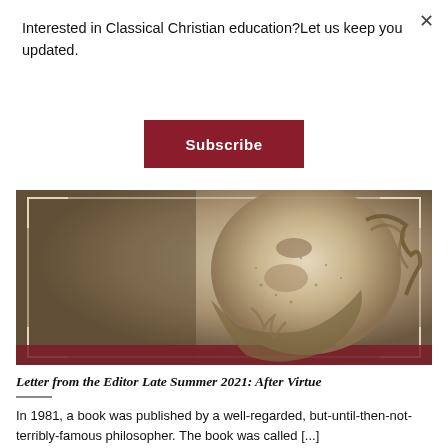Interested in Classical Christian education?Let us keep you updated.
Subscribe
[Figure (illustration): An engraving-style illustration of a bearded ancient philosopher (likely Plato or Socrates), shown in close-up profile, with wavy hair and beard, set against a decorative framed border with a sepia/grey tone.]
Letter from the Editor Late Summer 2021: After Virtue
In 1981, a book was published by a well-regarded, but-until-then-not-terribly-famous philosopher. The book was called [...]